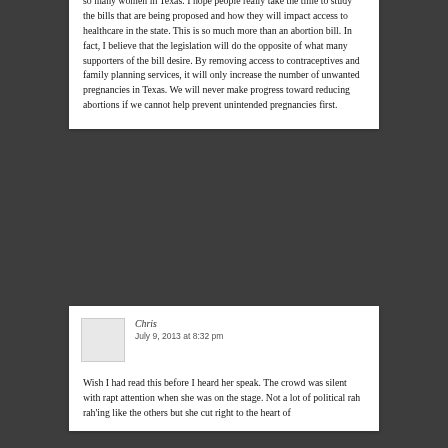so many women in Texas. I hope people really take the time to study the bills that are being proposed and how they will impact access to healthcare in the state. This is so much more than an abortion bill. In fact, I believe that the legislation will do the opposite of what many supporters of the bill desire. By removing access to contraceptives and family planning services, it will only increase the number of unwanted pregnancies in Texas. We will never make progress toward reducing abortions if we cannot help prevent unintended pregnancies first.
Chris
July 9, 2013 at 8:32 pm
Wish I had read this before I heard her speak. The crowd was silent with rapt attention when she was on the stage. Not a lot of political rah rah'ing like the others but she cut right to the heart of